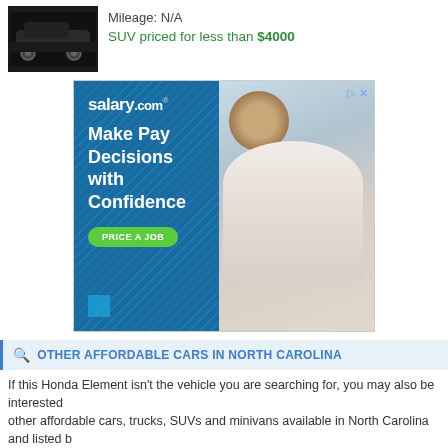Mileage: N/A
SUV priced for less than $4000
[Figure (photo): Salary.com advertisement: Make Pay Decisions with Confidence. Price a Job button. Shows a smiling woman at a desk.]
OTHER AFFORDABLE CARS IN NORTH CAROLINA
If this Honda Element isn't the vehicle you are searching for, you may also be interested other affordable cars, trucks, SUVs and minivans available in North Carolina and listed b
1996 Ford Escort in Hillsborough, NC